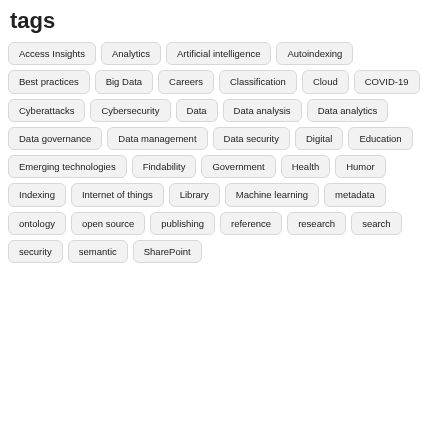tags
Access Insights
Analytics
Artificial intelligence
Autoindexing
Best practices
Big Data
Careers
Classification
Cloud
COVID-19
Cyberattacks
Cybersecurity
Data
Data analysis
Data analytics
Data governance
Data management
Data security
Digital
Education
Emerging technologies
Findability
Government
Health
Humor
Indexing
Internet of things
Library
Machine learning
metadata
ontology
open source
publishing
reference
research
search
security
semantic
SharePoint